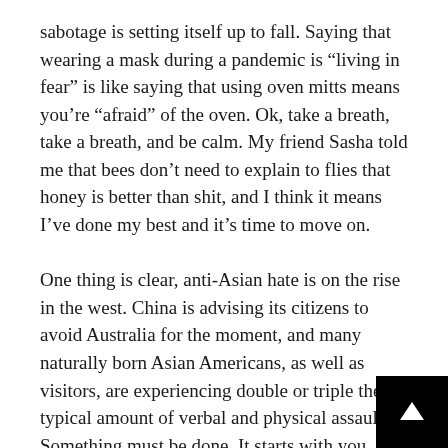sabotage is setting itself up to fall. Saying that wearing a mask during a pandemic is “living in fear” is like saying that using oven mitts means you’re “afraid” of the oven. Ok, take a breath, take a breath, and be calm. My friend Sasha told me that bees don’t need to explain to flies that honey is better than shit, and I think it means I’ve done my best and it’s time to move on.
One thing is clear, anti-Asian hate is on the rise in the west. China is advising its citizens to avoid Australia for the moment, and many naturally born Asian Americans, as well as visitors, are experiencing double or triple the typical amount of verbal and physical assaults. Something must be done. It starts with you, see something, say something.
It’s deeper than a pandemic but feels like only now are we waking up to the mess we’ve swept under the rug. When you understand that under capitalism, a fores